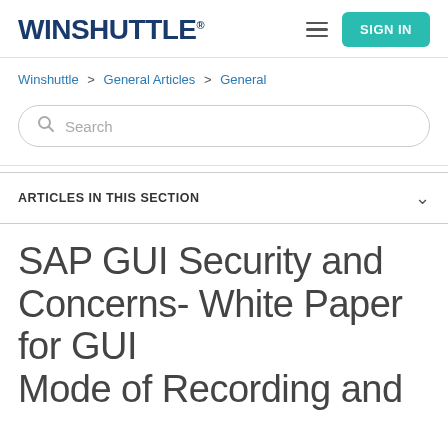WINSHUTTLE®
Winshuttle > General Articles > General
Search
ARTICLES IN THIS SECTION
SAP GUI Security and Concerns- White Paper for GUI Mode of Recording and